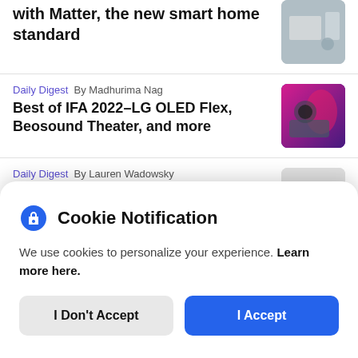with Matter, the new smart home standard
Daily Digest  By Madhurima Nag
Best of IFA 2022–LG OLED Flex, Beosound Theater, and more
Daily Digest  By Lauren Wadowsky
Cookie Notification
We use cookies to personalize your experience. Learn more here.
I Don't Accept
I Accept